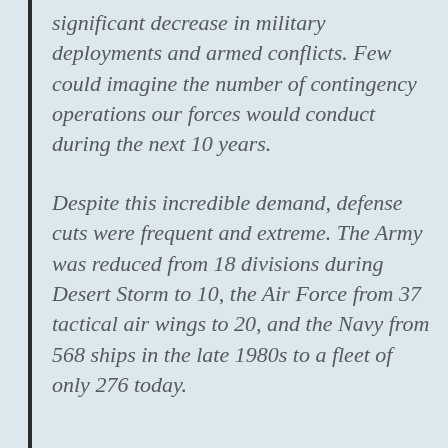Union, many experts expected a significant decrease in military deployments and armed conflicts. Few could imagine the number of contingency operations our forces would conduct during the next 10 years.
Despite this incredible demand, defense cuts were frequent and extreme. The Army was reduced from 18 divisions during Desert Storm to 10, the Air Force from 37 tactical air wings to 20, and the Navy from 568 ships in the late 1980s to a fleet of only 276 today.